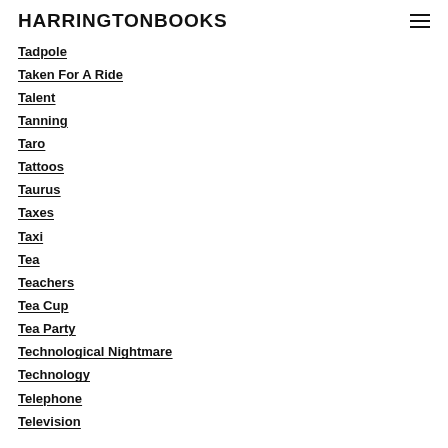HARRINGTONBOOKS
Tadpole
Taken For A Ride
Talent
Tanning
Taro
Tattoos
Taurus
Taxes
Taxi
Tea
Teachers
Tea Cup
Tea Party
Technological Nightmare
Technology
Telephone
Television